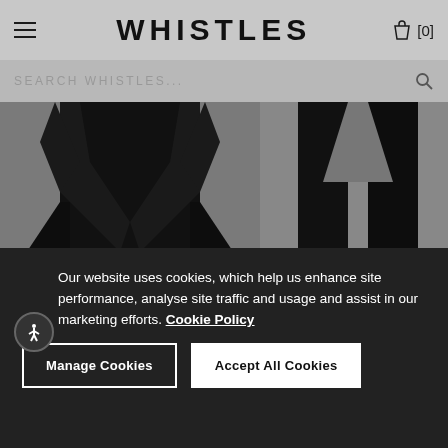WHISTLES [0]
SEARCH WHISTLES...
[Figure (photo): Black blazer jacket product photo with single button, on grey background, with label BACK IN STOCK]
[Figure (photo): Black leggings/trousers product photo on grey background, with partial label RESPONSIBL]
Our website uses cookies, which help us enhance site performance, analyse site traffic and usage and assist in our marketing efforts. Cookie Policy
Manage Cookies
Accept All Cookies